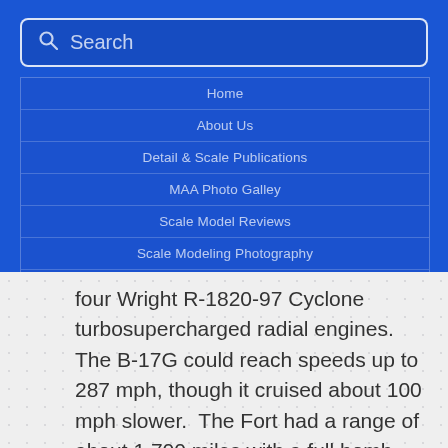[Figure (screenshot): Navigation menu overlay with search bar and menu items: Home, About Us, Detail & Scale Publications, MAA Photo Galley, Scale Model Reviews, Scale Modeling Photography, Contact Us — on a blue background]
four Wright R-1820-97 Cyclone turbosupercharged radial engines.  The B-17G could reach speeds up to 287 mph, though it cruised about 100 mph slower.  The Fort had a range of about 1,700 miles with a full bomb load of 4,500 pounds and a